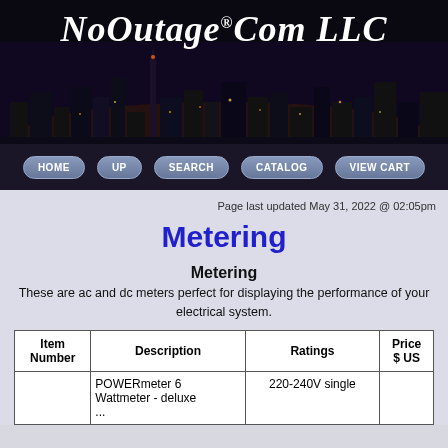[Figure (screenshot): NoOutage.Com LLC banner with nighttime city skyline and navigation buttons: HOME, UP, SEARCH, CATALOG, VIEW CART]
Page last updated May 31, 2022 @ 02:05pm
Metering
Metering
These are ac and dc meters perfect for displaying the performance of your electrical system.
| Item Number | Description | Ratings | Price $ US |
| --- | --- | --- | --- |
|  | POWERmeter 6 Wattmeter - deluxe ... | 220-240V single |  |